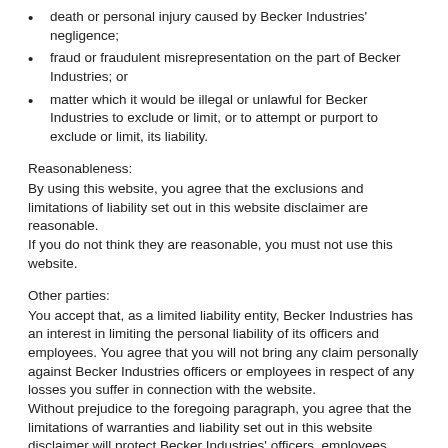death or personal injury caused by Becker Industries' negligence;
fraud or fraudulent misrepresentation on the part of Becker Industries; or
matter which it would be illegal or unlawful for Becker Industries to exclude or limit, or to attempt or purport to exclude or limit, its liability.
Reasonableness:
By using this website, you agree that the exclusions and limitations of liability set out in this website disclaimer are reasonable.
If you do not think they are reasonable, you must not use this website.
Other parties:
You accept that, as a limited liability entity, Becker Industries has an interest in limiting the personal liability of its officers and employees. You agree that you will not bring any claim personally against Becker Industries officers or employees in respect of any losses you suffer in connection with the website.
Without prejudice to the foregoing paragraph, you agree that the limitations of warranties and liability set out in this website disclaimer will protect Becker Industries' officers, employees, agents, subsidiaries, successors, assigns and sub-contractors as well as Becker Industries.